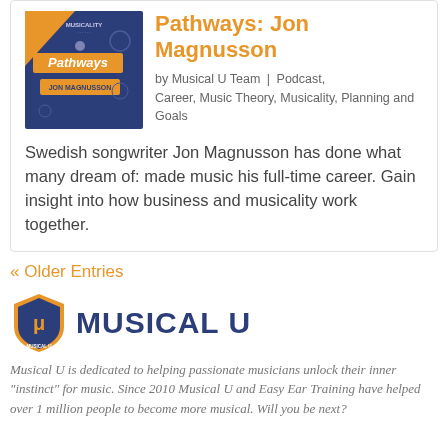Pathways: Jon Magnusson
by Musical U Team | Podcast, Career, Music Theory, Musicality, Planning and Goals
Swedish songwriter Jon Magnusson has done what many dream of: made music his full-time career. Gain insight into how business and musicality work together.
« Older Entries
[Figure (logo): Musical U shield logo with stylized 'mu' letters inside, followed by MUSICAL U wordmark in dark navy]
Musical U is dedicated to helping passionate musicians unlock their inner "instinct" for music. Since 2010 Musical U and Easy Ear Training have helped over 1 million people to become more musical. Will you be next?